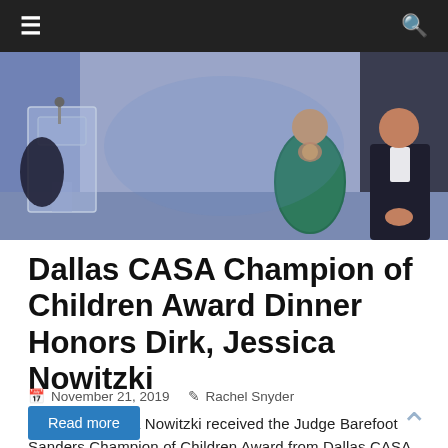≡  🔍
[Figure (photo): Event photo showing a podium/lectern with a person in a teal/green dress and another person in a dark suit on a stage with blue and grey draping in the background]
Dallas CASA Champion of Children Award Dinner Honors Dirk, Jessica Nowitzki
November 21, 2019  Rachel Snyder
Dirk and Jessica Nowitzki received the Judge Barefoot Sanders Champion of Children Award from Dallas CASA Nov. 14 for their
Read more